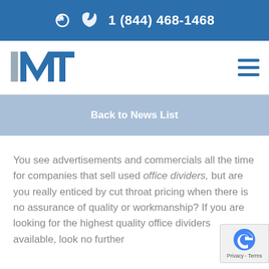1 (844) 468-1468
[Figure (logo): iMT logo with stylized letters i, M, T in gray and blue]
Back to News List
You see advertisements and commercials all the time for companies that sell used office dividers, but are you really enticed by cut throat pricing when there is no assurance of quality or workmanship? If you are looking for the highest quality office dividers available, look no further than iMT Wall from iMT Modular Partitions and